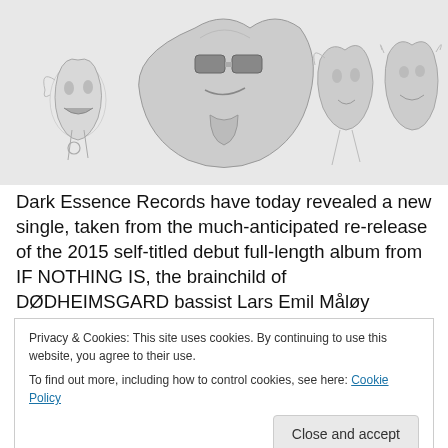[Figure (illustration): Five sketched/drawn figures of faces and figures in black and white pencil style on a light gray background, spread horizontally across the image area.]
Dark Essence Records have today revealed a new single, taken from the much-anticipated re-release of the 2015 self-titled debut full-length album from IF NOTHING IS, the brainchild of DØDHEIMSGARD bassist Lars Emil Måløy
Privacy & Cookies: This site uses cookies. By continuing to use this website, you agree to their use.
To find out more, including how to control cookies, see here: Cookie Policy
Close and accept
ator